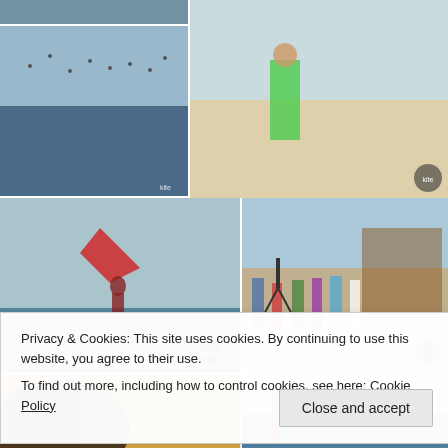[Figure (photo): Kitesurfer aerial action at sea, top-left thumbnail]
[Figure (photo): Person standing on beach in green shorts with kite equipment]
[Figure (photo): Wide shot of many kite surfers on choppy water]
[Figure (photo): Kite surfer performing aerial trick over water with red kite]
[Figure (photo): Cameraman filming group of young people on beach at event]
[Figure (photo): Close-up blurred foreground dark hair, yellow building background]
[Figure (photo): Kite surfer vertical trick with banner in background]
[Figure (photo): Bottom-left partial photo, Kite Summer text visible]
[Figure (photo): Bottom-right partial photo, people on beach]
Privacy & Cookies: This site uses cookies. By continuing to use this website, you agree to their use.
To find out more, including how to control cookies, see here: Cookie Policy
Close and accept